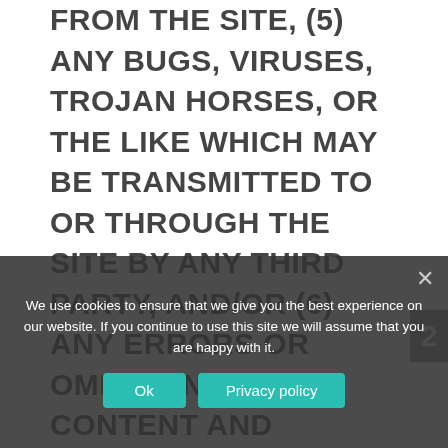FROM THE SITE, (5) ANY BUGS, VIRUSES, TROJAN HORSES, OR THE LIKE WHICH MAY BE TRANSMITTED TO OR THROUGH THE SITE BY ANY THIRD PARTY, AND/OR (6) ANY ERRORS OR OMISSIONS IN ANY CONTENT AND MATERIALS OR FOR ANY LOSS OR DAMAGE OF ANY KIND INCURRED AS A RESULT OF THE USE OF ANY CONTENT POSTED, TRANSMITTED, OR OTHERWISE MADE AVAILABLE VIA THE SITE. WE DO NOT WARRANT, ENDORSE, GUARANTEE, OR ASSUME RESPONSIBILITY FOR ANY PRODUCT OR SERVICE ADVERTISED OR OFFERED BY A THIRD PARTY THROUGH THE SITE, ANY
We use cookies to ensure that we give you the best experience on our website. If you continue to use this site we will assume that you are happy with it.